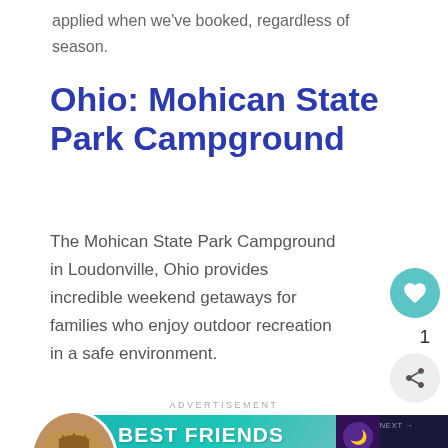applied when we've booked, regardless of season.
Ohio: Mohican State Park Campground
The Mohican State Park Campground in Loudonville, Ohio provides incredible weekend getaways for families who enjoy outdoor recreation in a safe environment.
ADVERTISEMENT
[Figure (photo): Advertisement banner: Best Friends Forever with cat image]
[Figure (photo): Advertisement banner: Change Lives with cats and close button]